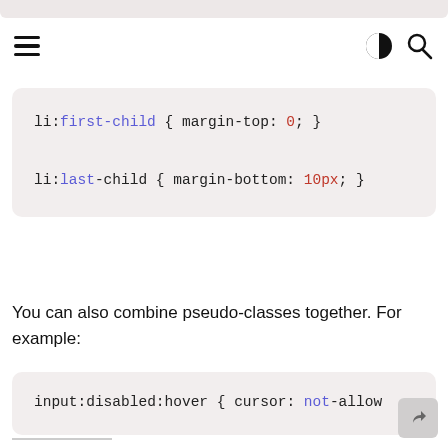[Figure (screenshot): Navigation bar with hamburger menu icon on left and contrast/search icons on right]
li:first-child { margin-top: 0; }
li:last-child { margin-bottom: 10px; }
You can also combine pseudo-classes together. For example:
input:disabled:hover { cursor: not-allow